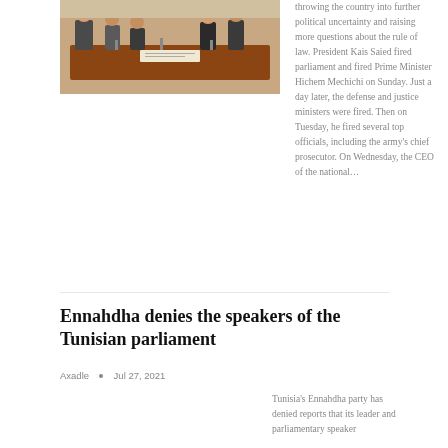[Figure (photo): People sitting around a table in a meeting room, appears to be a government or military meeting]
throwing the country into further political uncertainty and raising more questions about the rule of law. President Kais Saied fired parliament and fired Prime Minister Hichem Mechichi on Sunday. Just a day later, the defense and justice ministers were fired. Then on Tuesday, he fired several top officials, including the army's chief prosecutor. On Wednesday, the CEO of the national…
Ennahdha denies the speakers of the Tunisian parliament
Axadle  •  Jul 27, 2021
[Figure (photo): A government or parliament building with palm trees, labeled LATEST]
Tunisia's Ennahdha party has denied reports that its leader and parliamentary speaker